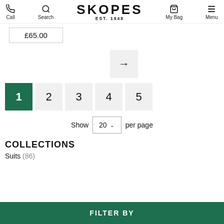Call | Search | SKOPES EST. 1948 | My Bag | Menu
£65.00
[Figure (other): Right arrow navigation button in a light grey square]
1 2 3 4 5 (pagination)
Show 20 per page
COLLECTIONS
Suits (86)
FILTER BY